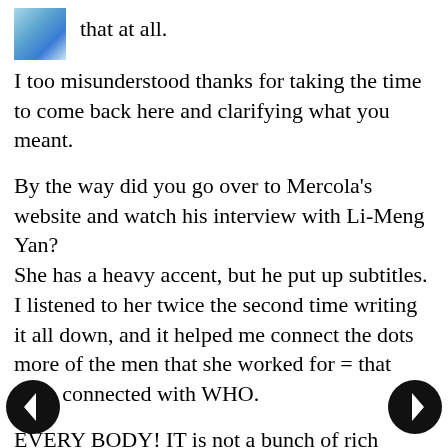that at all.
I too misunderstood thanks for taking the time to come back here and clarifying what you meant.
By the way did you go over to Mercola's website and watch his interview with Li-Meng Yan?
She has a heavy accent, but he put up subtitles. I listened to her twice the second time writing it all down, and it helped me connect the dots more of the men that she worked for = that were connected with WHO.
EVERY BODY! IT is not a bunch of rich millionaires, billionaires, that has decided to take over the world; it is not the world economic forum trying to take over the world; it is the communist China that took...